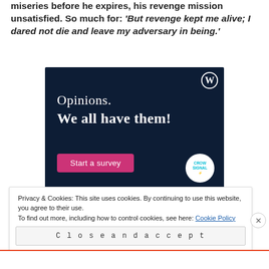miseries before he expires, his revenge mission unsatisfied. So much for: 'But revenge kept me alive; I dared not die and leave my adversary in being.'
[Figure (screenshot): Advertisement banner with dark navy background. Shows WordPress logo in top right corner. Text reads 'Opinions. We all have them!' with a pink 'Start a survey' button and Crowdsignal logo in bottom right.]
Privacy & Cookies: This site uses cookies. By continuing to use this website, you agree to their use. To find out more, including how to control cookies, see here: Cookie Policy
Close and accept